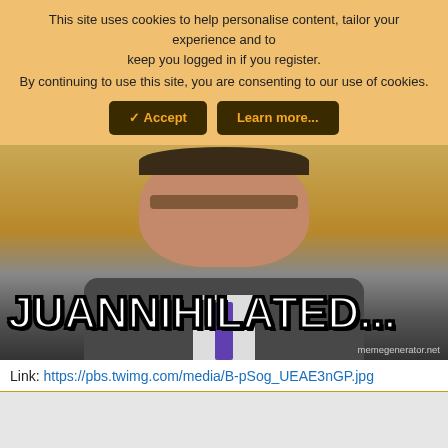This site uses cookies to help personalise content, tailor your experience and to keep you logged in if you register.
By continuing to use this site, you are consenting to our use of cookies.
✓ Accept    Learn more...
[Figure (photo): Meme image of a man in a suit with glasses looking downward, with bold white text reading 'JUANNIHILATED...' overlaid at the bottom, and 'memegenerator.net' watermark at bottom right.]
Link: https://pbs.twimg.com/media/B-pSog_UEAE3nGP.jpg